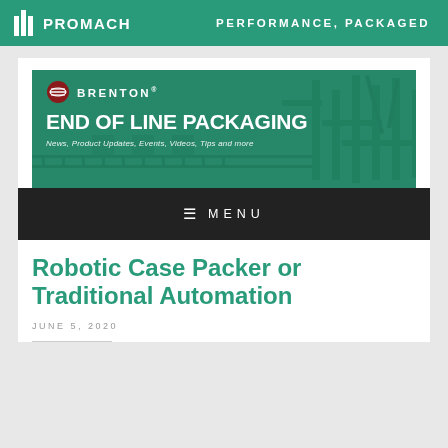PROMACH | PERFORMANCE, PACKAGED
[Figure (illustration): Brenton End of Line Packaging blog banner with teal background, machinery silhouette, Brenton logo, title 'END OF LINE PACKAGING' and subtitle 'News, Product Updates, Events, Videos, Tips and more']
≡ MENU
Robotic Case Packer or Traditional Automation
JUNE 5, 2020